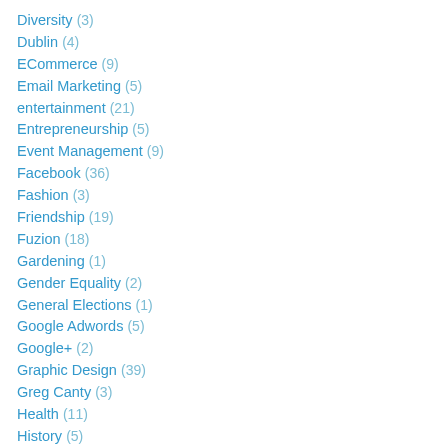Diversity (3)
Dublin (4)
ECommerce (9)
Email Marketing (5)
entertainment (21)
Entrepreneurship (5)
Event Management (9)
Facebook (36)
Fashion (3)
Friendship (19)
Fuzion (18)
Gardening (1)
Gender Equality (2)
General Elections (1)
Google Adwords (5)
Google+ (2)
Graphic Design (39)
Greg Canty (3)
Health (11)
History (5)